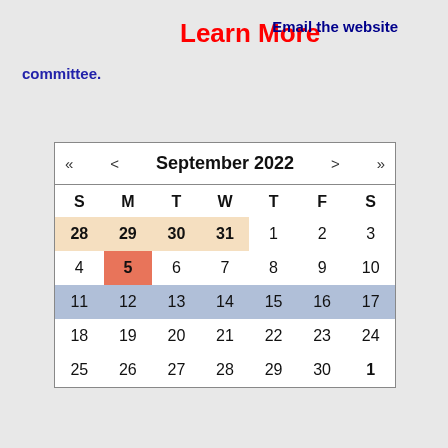Learn More
Email the website
committee.
| S | M | T | W | T | F | S |
| --- | --- | --- | --- | --- | --- | --- |
| 28 | 29 | 30 | 31 | 1 | 2 | 3 |
| 4 | 5 | 6 | 7 | 8 | 9 | 10 |
| 11 | 12 | 13 | 14 | 15 | 16 | 17 |
| 18 | 19 | 20 | 21 | 22 | 23 | 24 |
| 25 | 26 | 27 | 28 | 29 | 30 | 1 |